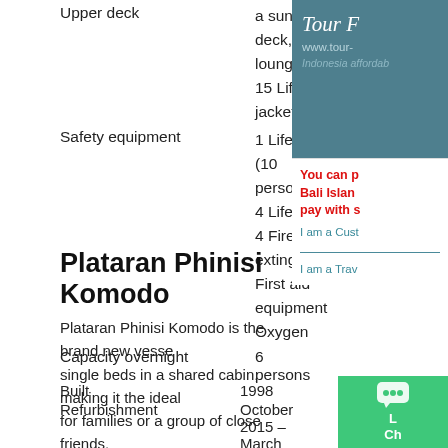Upper deck: a sun deck, 4 loungers
15 Life jackets
Safety equipment: 1 Life-rafts (10 persons)
4 Lifebuoys
4 Fire extinguisher
First aid equipment
Oxygen
Capacity overnight: 6 persons
Plataran Phinisi Komodo
Plataran Phinisi Komodo is the brand new vessel single beds in a shared cabin, making it the ideal for families or a group of close friends.
Based in Labuan Bajo, East Nusa Tenggara.
Built: 1998
Refurbishment: October 2015 – March 2016
[Figure (screenshot): Sidebar with Tour company branding (teal background), promotional CTA text in red, customer input fields, and live chat widget in green.]